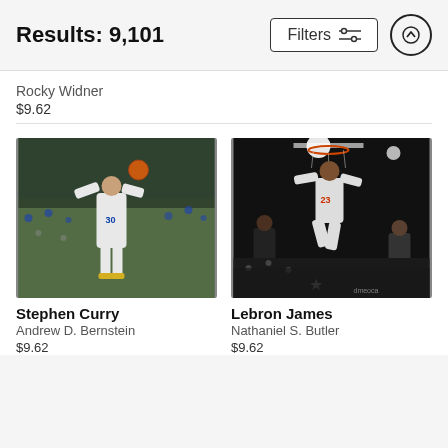Results: 9,101
Filters
Rocky Widner
$9.62
[Figure (photo): Basketball photo of Stephen Curry shooting in an NBA game, with crowd in background]
Stephen Curry
Andrew D. Bernstein
$9.62
[Figure (photo): Basketball photo of Lebron James dunking in an NBA game, with crowd in background, watermark dmeoca]
Lebron James
Nathaniel S. Butler
$9.62